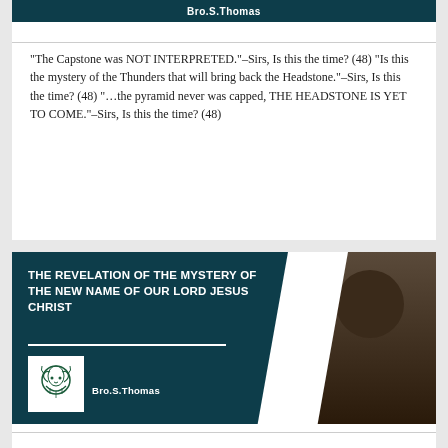Bro.S.Thomas
“The Capstone was NOT INTERPRETED.”-Sirs, Is this the time? (48) “Is this the mystery of the Thunders that will bring back the Headstone.”-Sirs, Is this the time? (48) “…the pyramid never was capped, THE HEADSTONE IS YET TO COME.”-Sirs, Is this the time? (48)
[Figure (illustration): Banner with dark teal background, red diagonal stripe, photo of Bro.S.Thomas on right, lion logo on lower left, white bold text reading THE REVELATION OF THE MYSTERY OF THE NEW NAME OF OUR LORD JESUS CHRIST, name Bro.S.Thomas below logo]